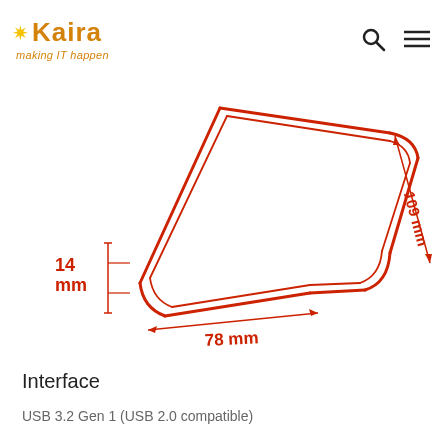Kaira — making IT happen
[Figure (engineering-diagram): Technical dimension drawing of a USB flash drive showing three measurements: 14 mm height, 78 mm width, and 109 mm diagonal length. The device is shown in perspective with rounded corners, drawn in red outline.]
Interface
USB 3.2 Gen 1 (USB 2.0 compatible)